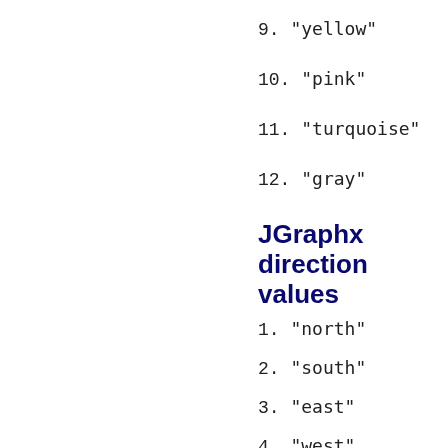9. "yellow"
10. "pink"
11. "turquoise"
12. "gray"
JGraphx direction values
1. "north"
2. "south"
3. "east"
4. "west"
JGraphx font modifier values